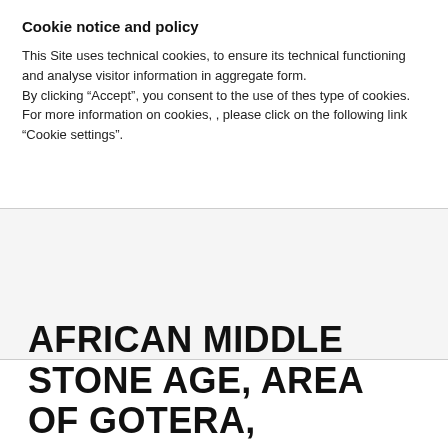Cookie notice and policy
This Site uses technical cookies, to ensure its technical functioning and analyse visitor information in aggregate form.
By clicking “Accept”, you consent to the use of thes type of cookies.
For more information on cookies, , please click on the following link “Cookie settings”.
[Figure (other): Gray placeholder/banner area]
AFRICAN MIDDLE STONE AGE, AREA OF GOTERA, SOUTHERN ETHIOPIA